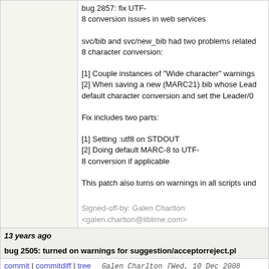bug 2857: fix UTF-8 conversion issues in web services

svc/bib and svc/new_bib had two problems related to UTF-8 character conversion:

[1] Couple instances of "Wide character" warnings
[2] When saving a new (MARC21) bib whose Leader/0... default character conversion and set the Leader/0...

Fix includes two parts:

[1] Setting :utf8 on STDOUT
[2] Doing default MARC-8 to UTF-8 conversion if applicable

This patch also turns on warnings in all scripts und...

Signed-off-by: Galen Charlton <galen.charlton@liblime.com>
13 years ago   bug 2505: turned on warnings for suggestion/acceptorreject.pl
commit | commitdiff | tree   Galen Charlton [Wed, 10 Dec 2008 23:30:03 +0000 (17:30 -0600)]
bug 2505: turned on warnings for suggestion/acce...

Also fixed where HTML could have unclosed...